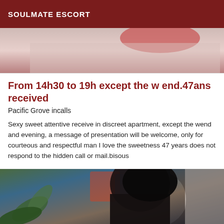SOULMATE ESCORT
[Figure (photo): Cropped photo showing partial body in red clothing against light background]
From 14h30 to 19h except the w end.47ans received
Pacific Grove incalls
Sexy sweet attentive receive in discreet apartment, except the wend and evening, a message of presentation will be welcome, only for courteous and respectful man I love the sweetness 47 years does not respond to the hidden call or mail.bisous
[Figure (photo): Photo of a dark-haired woman seen from behind, with plants and colorful artwork visible in background]